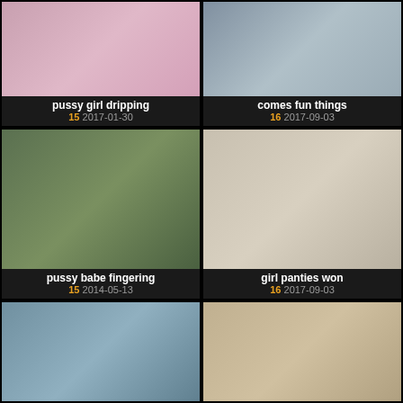[Figure (photo): Thumbnail photo 1 - girl in pink top]
pussy girl dripping
15 2017-01-30
[Figure (photo): Thumbnail photo 2 - laundry room scene]
comes fun things
16 2017-09-03
[Figure (photo): Thumbnail photo 3 - outdoor scene]
pussy babe fingering
15 2014-05-13
[Figure (photo): Thumbnail photo 4 - laundry room couple]
girl panties won
16 2017-09-03
[Figure (photo): Thumbnail photo 5 - woman outdoors with bridge]
[Figure (photo): Thumbnail photo 6 - two women on sofa]